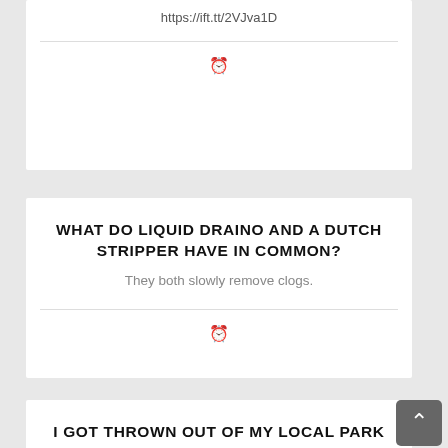https://ift.tt/2VJva1D
WHAT DO LIQUID DRAINO AND A DUTCH STRIPPER HAVE IN COMMON?
They both slowly remove clogs.
I GOT THROWN OUT OF MY LOCAL PARK AFTER ARRANGING THE SQUIRRELS BY HEIGHT.
They didn't like me critter sizing.